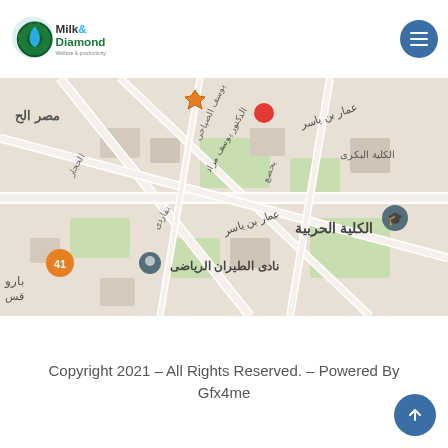[Figure (logo): Milk & Diamond logo with gear and water drop icon, subtitle: Welfare & productivity]
[Figure (map): Google Maps screenshot showing an area in Egypt with Arabic street labels including: مصر الجديدة, الكلية الحربية, نادى الطيران الرياضى, عمار بن ياسر, with location pins]
Copyright 2021 – All Rights Reserved. – Powered By Gfx4me